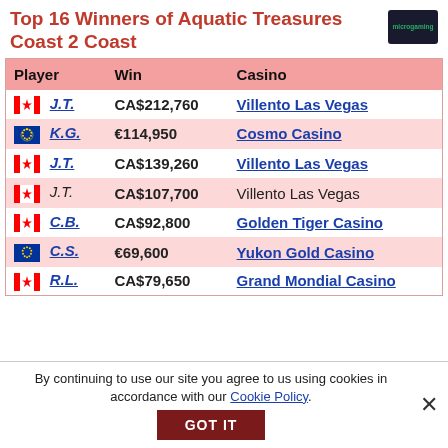Top 16 Winners of Aquatic Treasures Coast 2 Coast
| Player | Win | Casino |
| --- | --- | --- |
| J.T. | CA$212,760 | Villento Las Vegas |
| K.G. | €114,950 | Cosmo Casino |
| J.T. | CA$139,260 | Villento Las Vegas |
| J.T. | CA$107,700 | Villento Las Vegas |
| C.B. | CA$92,800 | Golden Tiger Casino |
| C.S. | €69,600 | Yukon Gold Casino |
| R.L. | CA$79,650 | Grand Mondial Casino |
By continuing to use our site you agree to us using cookies in accordance with our Cookie Policy.